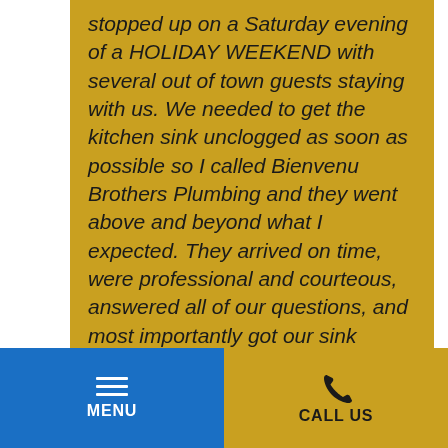stopped up on a Saturday evening of a HOLIDAY WEEKEND with several out of town guests staying with us. We needed to get the kitchen sink unclogged as soon as possible so I called Bienvenu Brothers Plumbing and they went above and beyond what I expected. They arrived on time, were professional and courteous, answered all of our questions, and most importantly got our sink working again! I highly recommend Bienvenu for ALL your plumbing needs!
MENU | CALL US